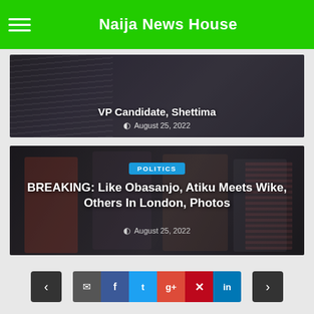Naija News House
[Figure (photo): Top card partially visible: dark photo with two people, headline 'VP Candidate, Shettima', dated August 25, 2022]
VP Candidate, Shettima
August 25, 2022
[Figure (photo): Bottom card: group photo of several men standing together at an event, with overlay text]
POLITICS
BREAKING: Like Obasanjo, Atiku Meets Wike, Others In London, Photos
August 25, 2022
Navigation and social share buttons: previous, comment, facebook, twitter, google+, pinterest, linkedin, next